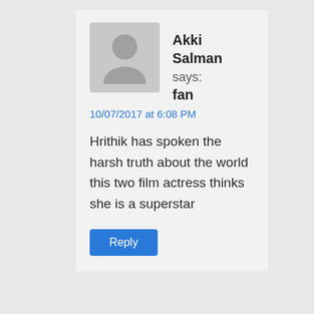[Figure (illustration): Gray avatar placeholder with person silhouette icon, first comment]
Akki Salman fan says:
10/07/2017 at 6:08 PM
Hrithik has spoken the harsh truth about the world this two film actress thinks she is a superstar
Reply
[Figure (illustration): Gray avatar placeholder with person silhouette icon, second comment]
nj says: